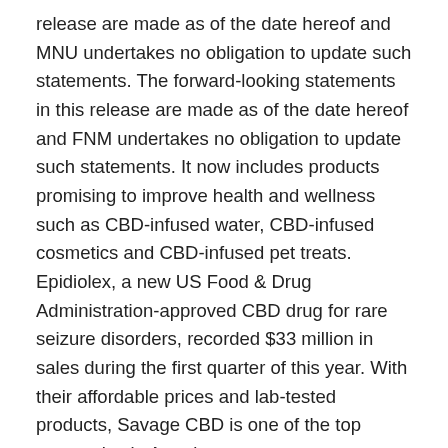release are made as of the date hereof and MNU undertakes no obligation to update such statements. The forward-looking statements in this release are made as of the date hereof and FNM undertakes no obligation to update such statements. It now includes products promising to improve health and wellness such as CBD-infused water, CBD-infused cosmetics and CBD-infused pet treats. Epidiolex, a new US Food & Drug Administration-approved CBD drug for rare seizure disorders, recorded $33 million in sales during the first quarter of this year. With their affordable prices and lab-tested products, Savage CBD is one of the top companies in America.
The Benefits Of CBD Products For